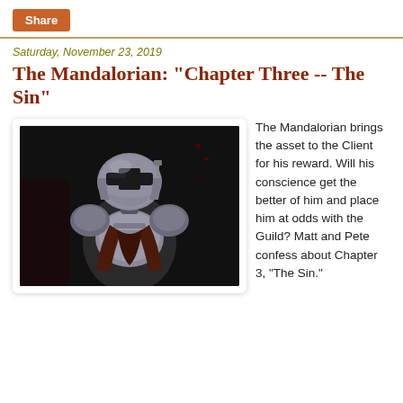Share
Saturday, November 23, 2019
The Mandalorian: "Chapter Three -- The Sin"
[Figure (photo): The Mandalorian character in full beskar armor sitting in a dimly lit spacecraft interior, helmet facing downward, chest plate and shoulder armor visible with dark reddish-brown leather accents.]
The Mandalorian brings the asset to the Client for his reward. Will his conscience get the better of him and place him at odds with the Guild? Matt and Pete confess about Chapter 3, “The Sin.”